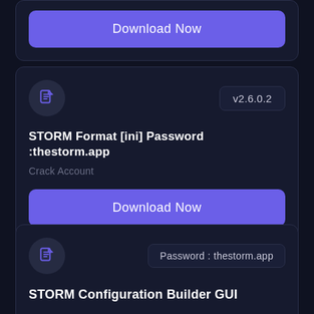[Figure (screenshot): Partial card showing a 'Download Now' button (top of page, cropped)]
v2.6.0.2
STORM Format [ini] Password :thestorm.app
Crack Account
Download Now
Password : thestorm.app
STORM Configuration Builder GUI